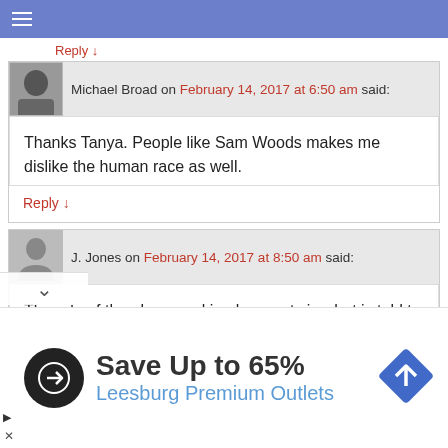≡ (navigation bar)
Reply ↓
Michael Broad on February 14, 2017 at 6:50 am said:
Thanks Tanya. People like Sam Woods makes me dislike the human race as well.
Reply ↓
J. Jones on February 14, 2017 at 8:50 am said:
The rule of thumb on working barn-cats is what is told to every child who lives on a farm or any ranch, “If you see a cat more than 100 yards from any building, shoot-it. It's up to no good.” That's how they deal with them outside of ban areas.
[Figure (infographic): Advertisement banner: Save Up to 65% Leesburg Premium Outlets. Black circular icon with arrow symbol on left, blue diamond road sign icon on right.]